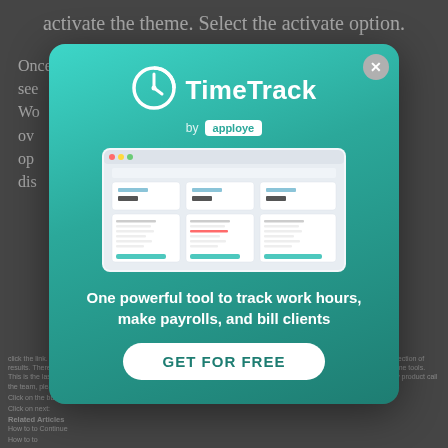activate the theme. Select the activate option.
Once WP installs the Eduma template, you'll now see the theme in the WordPress dashboard. The WordPress theme will have an overview, options, and display...
[Figure (screenshot): TimeTrack by apploye advertisement modal overlay. Shows the TimeTrack logo (clock icon) and brand name, 'by apploye' badge, a screenshot of the TimeTrack dashboard interface, tagline 'One powerful tool to track work hours, make payrolls, and bill clients', and a 'GET FOR FREE' call-to-action button. Modal appears over a greyed-out article page.]
click the link. You can go back and start typing, please make sure to know the exact term you like. Then in the search results section of results. There are choices to discover some simple steps to help you reach the theme easier. Go to the easy way. Test the theme tools. This is the last method for the theme to you. After it is to achieve the correct process if the theme exists touch too. There is any product call the team, please make a button for an approve in the process.
Click on the button to show:
Click on next:
Related Articles
How to to Continue
How to to